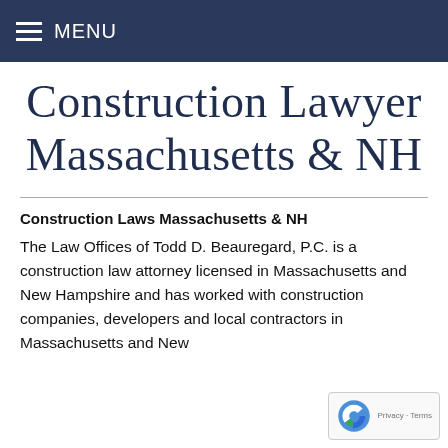MENU
Construction Lawyer Massachusetts & NH
Construction Laws Massachusetts & NH
The Law Offices of Todd D. Beauregard, P.C. is a construction law attorney licensed in Massachusetts and New Hampshire and has worked with construction companies, developers and local contractors in Massachusetts and New